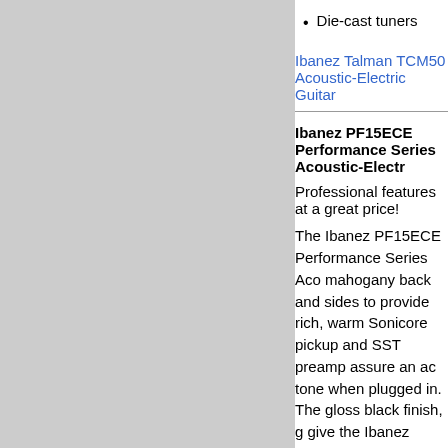Die-cast tuners
Ibanez Talman TCM50 Acoustic-Electric Guitar
Ibanez PF15ECE Performance Series Acoustic-Electric Guitar
Professional features at a great price!
The Ibanez PF15ECE Performance Series Acoustic-Electric Guitar features mahogany back and sides to provide rich, warm tone. The Fishman Sonicore pickup and SST preamp assure an accurate acoustic tone when plugged in. The gloss black finish, gold tuners, and more give the Ibanez PF15ECE a distinguished appearance. Play your best with your PF15ECE Guitar!
Ibanez PF15ECE Performance Series Acoustic-Electric Guitar features:
Mahogany back and sides
Spruce top
Fishman Sonicore pickup
SST preamp
Onboard tuner
Gloss black finish